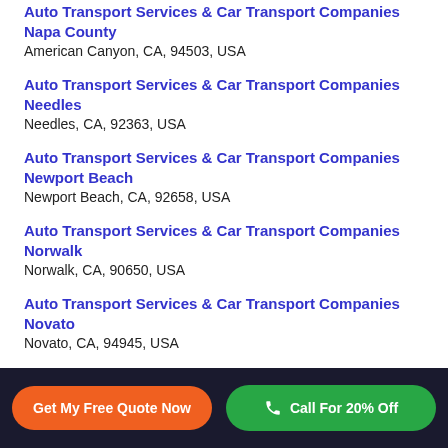Auto Transport Services & Car Transport Companies Napa County
American Canyon, CA, 94503, USA
Auto Transport Services & Car Transport Companies Needles
Needles, CA, 92363, USA
Auto Transport Services & Car Transport Companies Newport Beach
Newport Beach, CA, 92658, USA
Auto Transport Services & Car Transport Companies Norwalk
Norwalk, CA, 90650, USA
Auto Transport Services & Car Transport Companies Novato
Novato, CA, 94945, USA
Get My Free Quote Now | Call For 20% Off